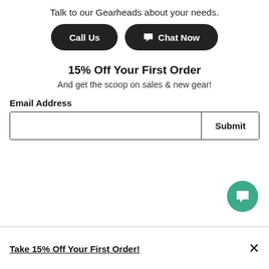Talk to our Gearheads about your needs.
[Figure (screenshot): Two dark pill-shaped buttons: 'Call Us' and a chat icon with 'Chat Now']
15% Off Your First Order
And get the scoop on sales & new gear!
Email Address
[Figure (screenshot): Email input field with Submit button]
[Figure (screenshot): Green circular chat FAB button with chat icon]
Take 15% Off Your First Order!